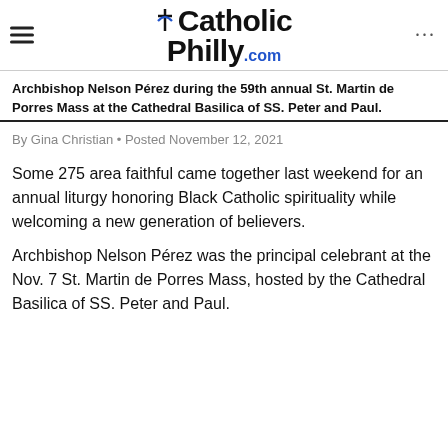CatholicPhilly.com
Archbishop Nelson Pérez during the 59th annual St. Martin de Porres Mass at the Cathedral Basilica of SS. Peter and Paul.
By Gina Christian • Posted November 12, 2021
Some 275 area faithful came together last weekend for an annual liturgy honoring Black Catholic spirituality while welcoming a new generation of believers.
Archbishop Nelson Pérez was the principal celebrant at the Nov. 7 St. Martin de Porres Mass, hosted by the Cathedral Basilica of SS. Peter and Paul.